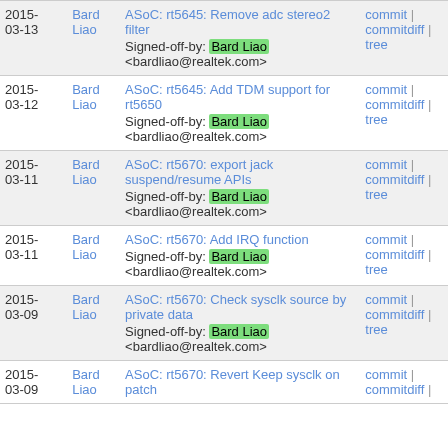| Date | Author | Description | Links |
| --- | --- | --- | --- |
| 2015-03-13 | Bard Liao | ASoC: rt5645: Remove adc stereo2 filter
Signed-off-by: Bard Liao <bardliao@realtek.com> | commit | commitdiff | tree |
| 2015-03-12 | Bard Liao | ASoC: rt5645: Add TDM support for rt5650
Signed-off-by: Bard Liao <bardliao@realtek.com> | commit | commitdiff | tree |
| 2015-03-11 | Bard Liao | ASoC: rt5670: export jack suspend/resume APIs
Signed-off-by: Bard Liao <bardliao@realtek.com> | commit | commitdiff | tree |
| 2015-03-11 | Bard Liao | ASoC: rt5670: Add IRQ function
Signed-off-by: Bard Liao <bardliao@realtek.com> | commit | commitdiff | tree |
| 2015-03-09 | Bard Liao | ASoC: rt5670: Check sysclk source by private data
Signed-off-by: Bard Liao <bardliao@realtek.com> | commit | commitdiff | tree |
| 2015-03-09 | Bard Liao | ASoC: rt5670: Revert Keep sysclk on patch | commit | commitdiff | |